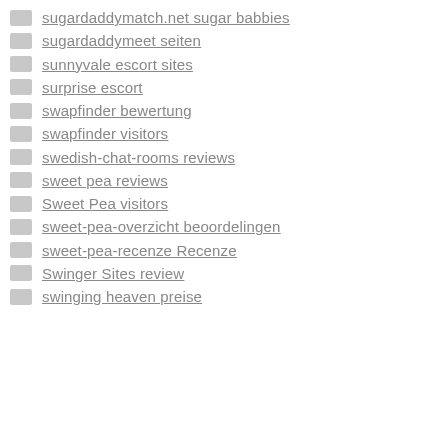sugardaddymatch.net sugar babbies
sugardaddymeet seiten
sunnyvale escort sites
surprise escort
swapfinder bewertung
swapfinder visitors
swedish-chat-rooms reviews
sweet pea reviews
Sweet Pea visitors
sweet-pea-overzicht beoordelingen
sweet-pea-recenze Recenze
Swinger Sites review
swinging heaven preise